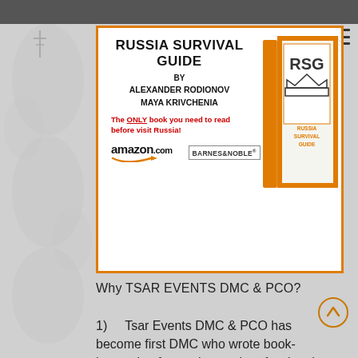[Figure (illustration): Russia Survival Guide book advertisement card with orange border. Shows book title, authors Alexander Rodionov and Maya Krivchenia, tagline 'The ONLY book you need to read before visit Russia!', amazon.com and Barnes & Noble logos, and book cover image with orange spine and RSG crown logo.]
Why TSAR EVENTS DMC & PCO?
1)   Tsar Events DMC & PCO has become first DMC who wrote book-instruction for tourists and professional travel planners who are going to